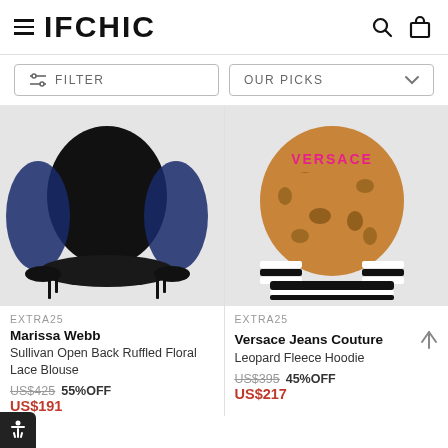IFCHIC
FILTER
OUR PICKS
[Figure (photo): Black blouse with blue sequin sleeves and ruffled hem, shown on a light gray background. Marissa Webb Sullivan Open Back Ruffled Floral Lace Blouse.]
EXTRA25
Marissa Webb
Sullivan Open Back Ruffled Floral Lace Blouse
US$425  55%OFF
US$191
[Figure (photo): Leopard print cropped hoodie with pink logo text and black and white striped ribbed cuffs and hem. Versace Jeans Couture Leopard Fleece Hoodie.]
EXTRA25
Versace Jeans Couture
Leopard Fleece Hoodie
US$395  45%OFF
US$217